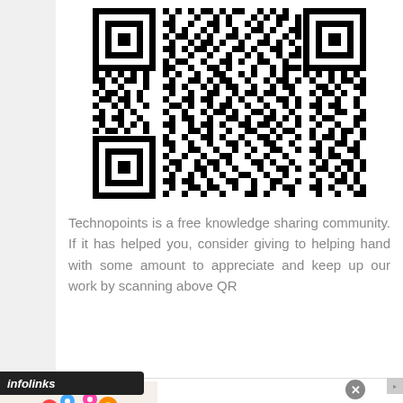[Figure (other): QR code — black and white matrix barcode for scanning]
Technopoints is a free knowledge sharing community. If it has helped you, consider giving to helping hand with some amount to appreciate and keep up our work by scanning above QR
[Figure (other): Infolinks advertisement bar overlay with 'infolinks' branding label]
[Figure (other): Advertisement banner: Trending Flowers & Gifts — Shop The Collection — www.1800flowers.com, with flower image and navigation arrow]